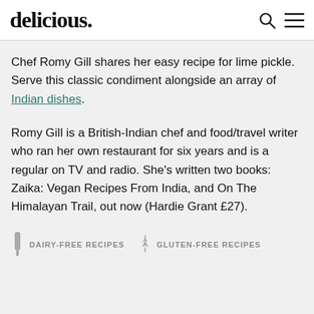delicious.
Chef Romy Gill shares her easy recipe for lime pickle. Serve this classic condiment alongside an array of Indian dishes.
Romy Gill is a British-Indian chef and food/travel writer who ran her own restaurant for six years and is a regular on TV and radio. She’s written two books: Zaika: Vegan Recipes From India, and On The Himalayan Trail, out now (Hardie Grant £27).
DAIRY-FREE RECIPES
GLUTEN-FREE RECIPES